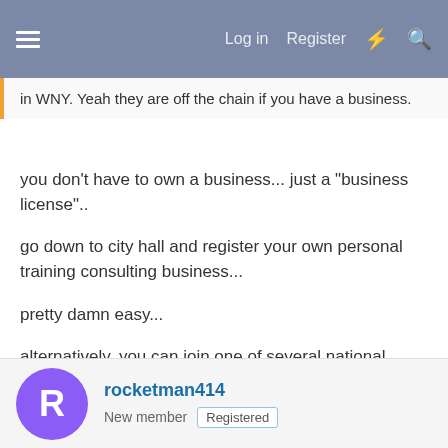Log in  Register
in WNY. Yeah they are off the chain if you have a business.
you don't have to own a business... just a "business license"..

go down to city hall and register your own personal training consulting business...

pretty damn easy...

alternatively, you can join one of several national barbeque associations, (KCBBQ for one) and u get a pass just for being a member of the organization.. just sayin
rocketman414
New member  Registered